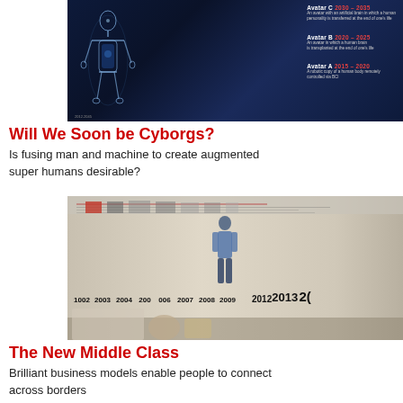[Figure (photo): Dark blue image showing a glowing humanoid avatar figure with text labels for Avatar C (2030-2035), Avatar B (2020-2025), and Avatar A (2015-2020) on the right side, each with descriptions.]
Will We Soon be Cyborgs?
Is fusing man and machine to create augmented super humans desirable?
[Figure (photo): Photo of an exhibition room showing a person standing in front of walls covered with a timeline from 2002 to 2013+, with years labeled in large bold text and photos/text panels mounted on white walls. Display objects visible in foreground.]
The New Middle Class
Brilliant business models enable people to connect across borders